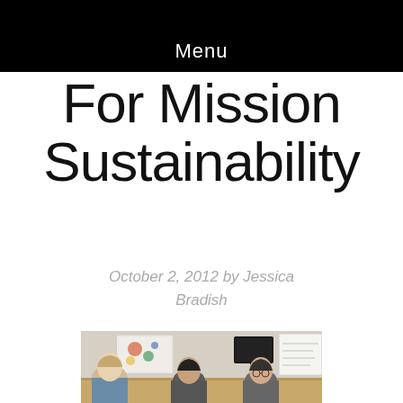Menu
For Mission Sustainability
October 2, 2012 by Jessica Bradish
[Figure (photo): Three people working together around a conference table in an office setting, with a colorful map poster on the wall, a TV monitor, and a whiteboard visible in the background.]